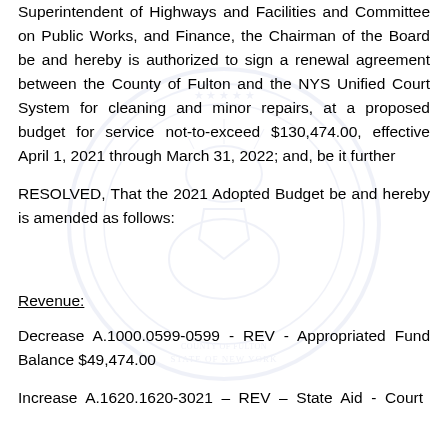Superintendent of Highways and Facilities and Committee on Public Works, and Finance, the Chairman of the Board be and hereby is authorized to sign a renewal agreement between the County of Fulton and the NYS Unified Court System for cleaning and minor repairs, at a proposed budget for service not-to-exceed $130,474.00, effective April 1, 2021 through March 31, 2022; and, be it further
RESOLVED, That the 2021 Adopted Budget be and hereby is amended as follows:
Revenue:
Decrease A.1000.0599-0599 - REV - Appropriated Fund Balance $49,474.00
Increase A.1620.1620-3021 – REV – State Aid - Court